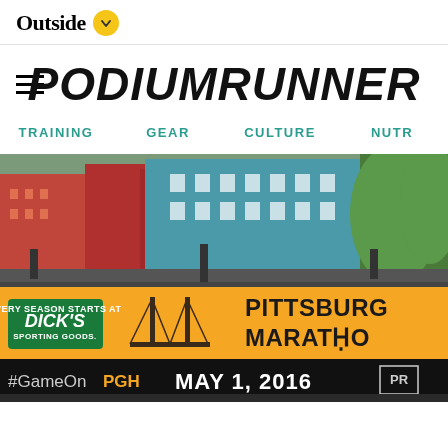Outside
PodiumRunner
TRAINING
GEAR
CULTURE
NUTR
[Figure (photo): Pittsburgh Marathon finish line banner at the Dick's Sporting Goods Pittsburgh Marathon on May 1, 2016, with #GameOnPGH text visible. Urban street setting with buildings and trees in background.]